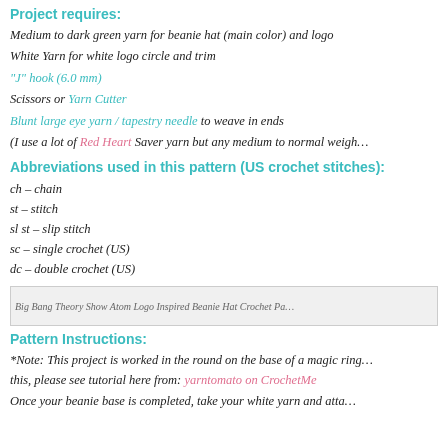Project requires:
Medium to dark green yarn for beanie hat (main color) and logo
White Yarn for white logo circle and trim
"J" hook (6.0 mm)
Scissors or Yarn Cutter
Blunt large eye yarn / tapestry needle to weave in ends
(I use a lot of Red Heart Saver yarn but any medium to normal weigh...
Abbreviations used in this pattern (US crochet stitches):
ch – chain
st – stitch
sl st – slip stitch
sc – single crochet (US)
dc – double crochet (US)
[Figure (photo): Big Bang Theory Show Atom Logo Inspired Beanie Hat Crochet Pattern image]
Pattern Instructions:
*Note: This project is worked in the round on the base of a magic ring... this, please see tutorial here from: yarntomato on CrochetMe
Once your beanie base is completed, take your white yarn and atta...